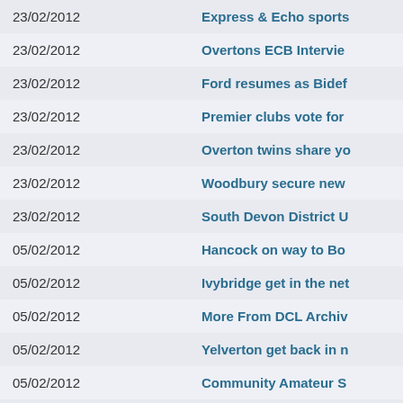| Date | Title |
| --- | --- |
| 23/02/2012 | Express & Echo sports |
| 23/02/2012 | Overtons ECB Intervie |
| 23/02/2012 | Ford resumes as Bidef |
| 23/02/2012 | Premier clubs vote for |
| 23/02/2012 | Overton twins share yo |
| 23/02/2012 | Woodbury secure new |
| 23/02/2012 | South Devon District U |
| 05/02/2012 | Hancock on way to Bo |
| 05/02/2012 | Ivybridge get in the net |
| 05/02/2012 | More From DCL Archiv |
| 05/02/2012 | Yelverton get back in n |
| 05/02/2012 | Community Amateur S |
| 05/02/2012 | Wood named league pl |
| 29/01/2012 | Does your club need C |
| 29/01/2012 |  |